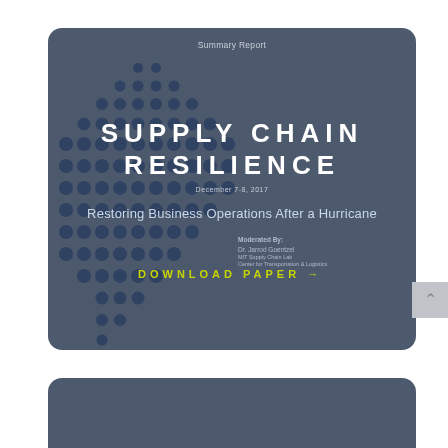[Figure (screenshot): Cover card for a Summary Report on Supply Chain Resilience with dark blue-grey background and globe dot pattern illustration. Contains title 'SUPPLY CHAIN RESILIENCE', date 'December 7-8, 2017', subtitle 'Restoring Business Operations After a Hurricane', moderator credit, and a 'DOWNLOAD PAPER →' call-to-action in yellow-green text.]
SUPPLY CHAIN RESILIENCE
Summary Report
December 7-8, 2017
Restoring Business Operations After a Hurricane
Moderated By:
Dr. Jarrod Goentzel
MIT Supply Chain Lab
Center for Transportation & Logistics
DOWNLOAD PAPER →
[Figure (screenshot): Bottom portion of a second card with the same dark blue-grey background, partially visible at the bottom of the page.]